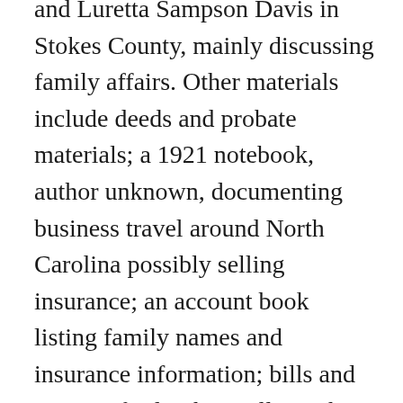and Luretta Sampson Davis in Stokes County, mainly discussing family affairs. Other materials include deeds and probate materials; a 1921 notebook, author unknown, documenting business travel around North Carolina possibly selling insurance; an account book listing family names and insurance information; bills and receipts for lumber mills run by Adkins and Davis family members; and a list of parishioners and financial records of the chapel on Davis property. There are also annotated typed transcriptions of family letters and research notes compiled by J. Daniel Mahar in 2005, donor-generated compact discs that duplicate some items in the collection and may include additional items, and other items.